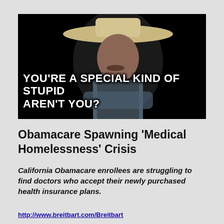[Figure (photo): A meme image showing a man wearing a cowboy hat with a mustache, seated against a dark background. Bold white text overlay reads: YOU'RE A SPECIAL KIND OF STUPID AREN'T YOU?]
Obamacare Spawning ‘Medical Homelessness’ Crisis
California Obamacare enrollees are struggling to find doctors who accept their newly purchased health insurance plans.
http://www.breitbart.com/Breitbart